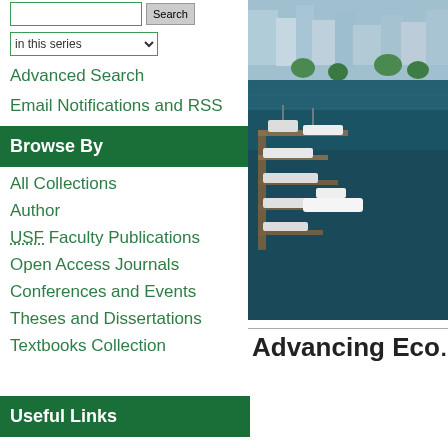Advanced Search
Email Notifications and RSS
Browse By
All Collections
Author
USF Faculty Publications
Open Access Journals
Conferences and Events
Theses and Dissertations
Textbooks Collection
[Figure (photo): Aerial photograph of a marina with boats docked along piers, with waterfront buildings and city visible in the background]
Useful Links
Advancing Eco…